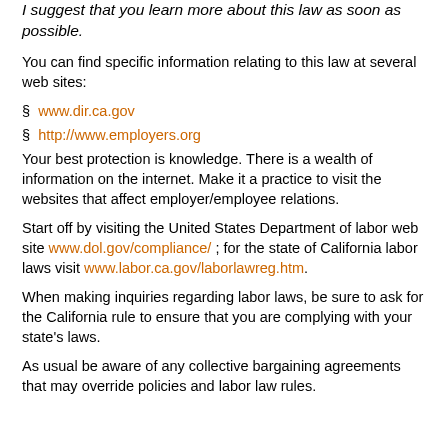I suggest that you learn more about this law as soon as possible.
You can find specific information relating to this law at several web sites:
§ www.dir.ca.gov
§ http://www.employers.org
Your best protection is knowledge. There is a wealth of information on the internet. Make it a practice to visit the websites that affect employer/employee relations.
Start off by visiting the United States Department of labor web site www.dol.gov/compliance/ ; for the state of California labor laws visit www.labor.ca.gov/laborlawreg.htm.
When making inquiries regarding labor laws, be sure to ask for the California rule to ensure that you are complying with your state's laws.
As usual be aware of any collective bargaining agreements that may override policies and labor law rules.